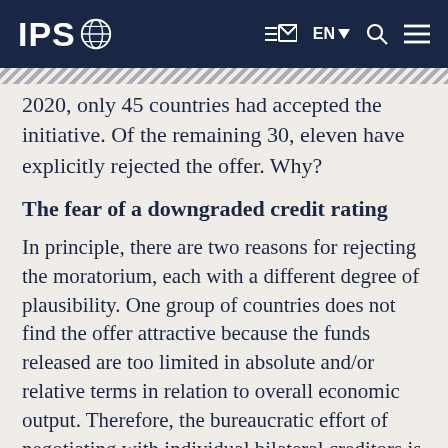IPS [globe logo] | EN | Q | menu
2020, only 45 countries had accepted the initiative. Of the remaining 30, eleven have explicitly rejected the offer. Why?
The fear of a downgraded credit rating
In principle, there are two reasons for rejecting the moratorium, each with a different degree of plausibility. One group of countries does not find the offer attractive because the funds released are too limited in absolute and/or relative terms in relation to overall economic output. Therefore, the bureaucratic effort of negotiating with individual bilateral creditors is not in any reasonable proportion to the fiscal